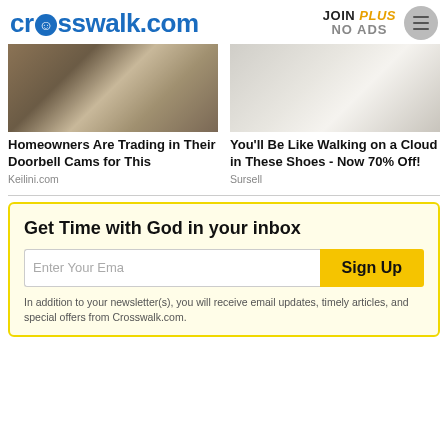crosswalk.com | JOIN PLUS NO ADS
[Figure (photo): Hand pressing a doorbell camera mounted on a wall]
Homeowners Are Trading in Their Doorbell Cams for This
Keilini.com
[Figure (photo): White sneaker shoes with perforated pattern and tan sole]
You'll Be Like Walking on a Cloud in These Shoes - Now 70% Off!
Sursell
Get Time with God in your inbox
Enter Your Ema
Sign Up
In addition to your newsletter(s), you will receive email updates, timely articles, and special offers from Crosswalk.com.